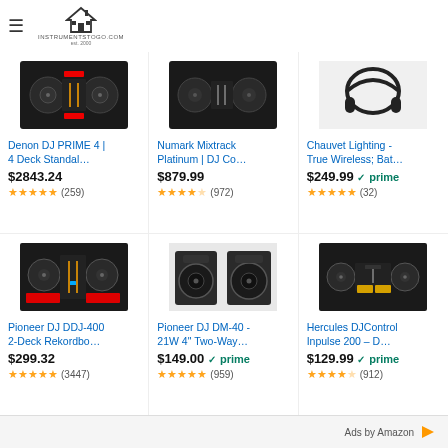instrumentstogo.com
Denon DJ PRIME 4 | 4 Deck Standal…
$2843.24
4.5 stars (259)
Numark Mixtrack Platinum | DJ Co…
$879.99
4.0 stars (972)
Chauvet Lighting - True Wireless; Bat…
$249.99 prime
4.5 stars (32)
Pioneer DJ DDJ-400 2-Deck Rekordbo…
$299.32
5 stars (3447)
Pioneer DJ DM-40 - 21W 4" Two-Way…
$149.00 prime
5 stars (959)
Hercules DJControl Inpulse 200 – D…
$129.99 prime
4.0 stars (912)
Ads by Amazon